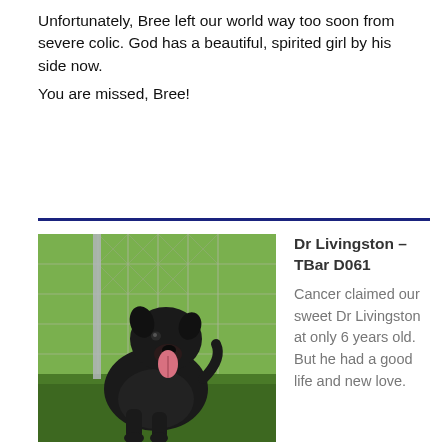Unfortunately, Bree left our world way too soon from severe colic. God has a beautiful, spirited girl by his side now.
You are missed, Bree!
[Figure (photo): A black dog sitting in front of a chain-link fence with green grass in the background, mouth open and tongue hanging out.]
Dr Livingston – TBar D061
Cancer claimed our sweet Dr Livingston at only 6 years old. But he had a good life and new love.